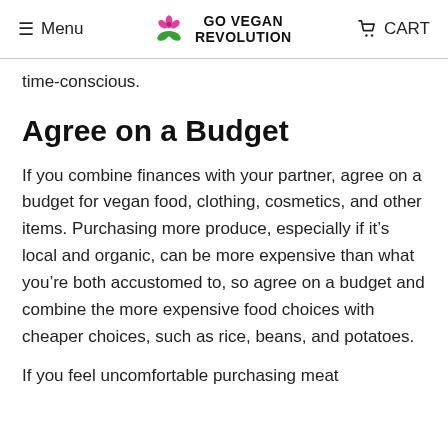Menu | GO VEGAN REVOLUTION | CART
time-conscious.
Agree on a Budget
If you combine finances with your partner, agree on a budget for vegan food, clothing, cosmetics, and other items. Purchasing more produce, especially if it’s local and organic, can be more expensive than what you’re both accustomed to, so agree on a budget and combine the more expensive food choices with cheaper choices, such as rice, beans, and potatoes.
If you feel uncomfortable purchasing meat